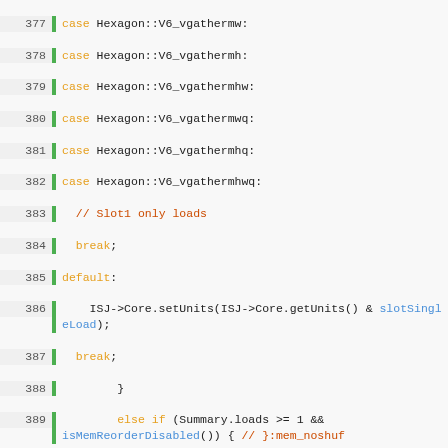[Figure (screenshot): Source code listing showing C++ code lines 377-402 with syntax highlighting. Orange keywords (case, break, default, else, if, return), blue identifiers (slotSingleLoad, isMemReorderDisabled, reportError), red/orange comments. Green vertical bar on left margin next to line numbers.]